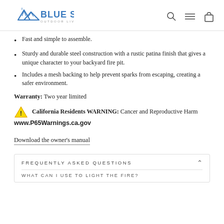BLUE SKY OUTDOOR LIVING
Fast and simple to assemble.
Sturdy and durable steel construction with a rustic patina finish that gives a unique character to your backyard fire pit.
Includes a mesh backing to help prevent sparks from escaping, creating a safer environment.
Warranty: Two year limited
California Residents WARNING: Cancer and Reproductive Harm www.P65Warnings.ca.gov
Download the owner's manual
FREQUENTLY ASKED QUESTIONS
WHAT CAN I USE TO LIGHT THE FIRE?